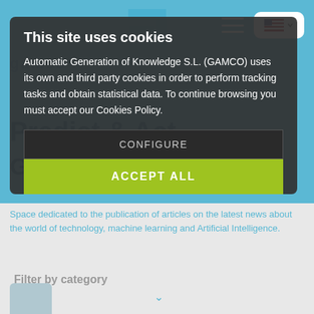[Figure (screenshot): Website screenshot showing GAMCO blog page with blue header, navigation bar with hamburger menu and US flag language selector, 'Predict & Act, Gamco's blog' heading in dark teal, and bottom gray section with subtitle about articles on technology, machine learning and AI, plus a filter by category section.]
This site uses cookies
Automatic Generation of Knowledge S.L. (GAMCO) uses its own and third party cookies in order to perform tracking tasks and obtain statistical data. To continue browsing you must accept our Cookies Policy.
CONFIGURE
ACCEPT ALL